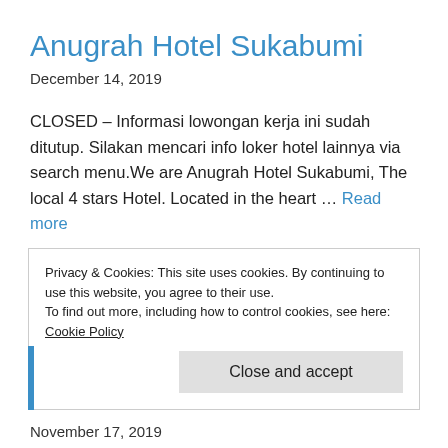Anugrah Hotel Sukabumi
December 14, 2019
CLOSED – Informasi lowongan kerja ini sudah ditutup. Silakan mencari info loker hotel lainnya via search menu.We are Anugrah Hotel Sukabumi, The local 4 stars Hotel. Located in the heart … Read more
Privacy & Cookies: This site uses cookies. By continuing to use this website, you agree to their use.
To find out more, including how to control cookies, see here: Cookie Policy
Close and accept
November 17, 2019